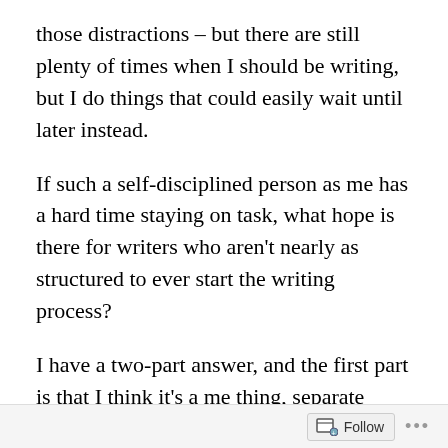those distractions – but there are still plenty of times when I should be writing, but I do things that could easily wait until later instead.
If such a self-disciplined person as me has a hard time staying on task, what hope is there for writers who aren't nearly as structured to ever start the writing process?
I have a two-part answer, and the first part is that I think it's a me thing, separate from being self-disciplined.
This isn't something that's just happened to me since having kids. It's something that's gone on as long as I've written. I remember spending afternoons at my parents' business, pacing through the same four rooms, building scenes in my mind, sometimes even muttering the lines. I
Follow ···